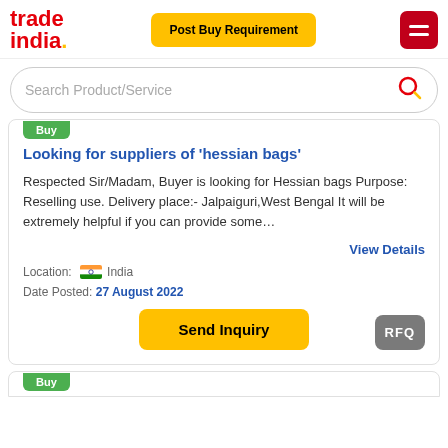tradeindia. | Post Buy Requirement
Search Product/Service
Looking for suppliers of 'hessian bags'
Respected Sir/Madam, Buyer is looking for Hessian bags Purpose: Reselling use. Delivery place:- Jalpaiguri,West Bengal It will be extremely helpful if you can provide some...
View Details
Location: India
Date Posted: 27 August 2022
Send Inquiry